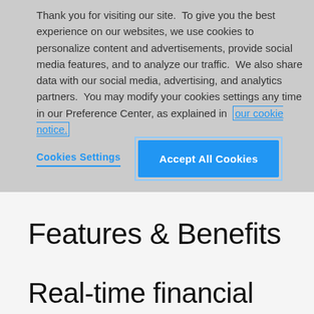Thank you for visiting our site.  To give you the best experience on our websites, we use cookies to personalize content and advertisements, provide social media features, and to analyze our traffic.  We also share data with our social media, advertising, and analytics partners.  You may modify your cookies settings any time in our Preference Center, as explained in our cookie notice.
Cookies Settings
Accept All Cookies
Features & Benefits
Real-time financial